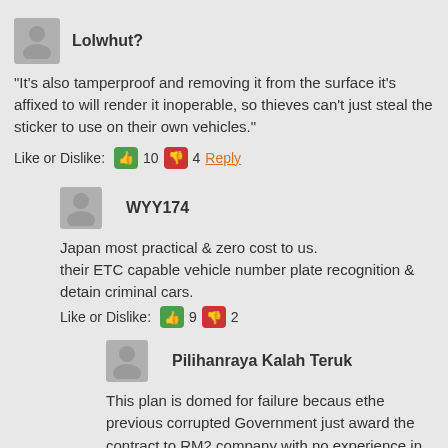Lolwhut?
"It's also tamperproof and removing it from the surface it's affixed to will render it inoperable, so thieves can't just steal the sticker to use on their own vehicles."
Like or Dislike: 10 4 Reply
WYY174
Japan most practical & zero cost to us.
their ETC capable vehicle number plate recognition & detain criminal cars.
Like or Dislike: 9 2
Pilihanraya Kalah Teruk
This plan is domed for failure becaus ethe previous corrupted Government just award the contract to RM2 company with no experience in this matter. Then buta buta earn a few billion ringgit clean profit whilst rakyat suffer with difficulties.